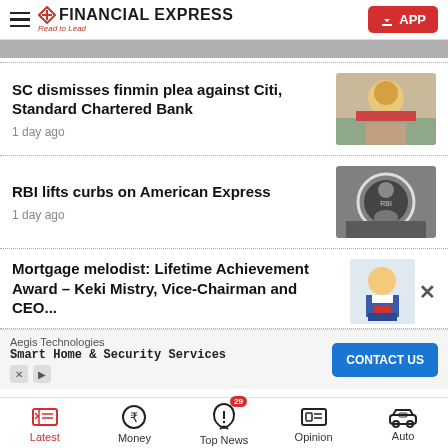FINANCIAL EXPRESS — Read to Lead
SC dismisses finmin plea against Citi, Standard Chartered Bank
1 day ago
RBI lifts curbs on American Express
1 day ago
Mortgage melodist: Lifetime Achievement Award – Keki Mistry, Vice-Chairman and CEO, HDFC
Aegis Technologies
Smart Home & Security Services
CONTACT US
Latest | Money | Top News 29 | Opinion | Auto